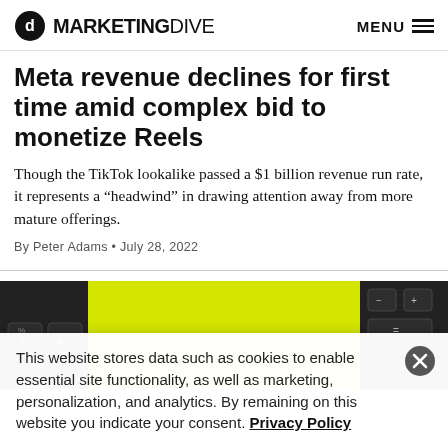Marketing Dive | MENU
Meta revenue declines for first time amid complex bid to monetize Reels
Though the TikTok lookalike passed a $1 billion revenue run rate, it represents a “headwind” in drawing attention away from more mature offerings.
By Peter Adams • July 28, 2022
[Figure (photo): Close-up of a dark keyboard with a yellow highlighted key strip]
This website stores data such as cookies to enable essential site functionality, as well as marketing, personalization, and analytics. By remaining on this website you indicate your consent. Privacy Policy